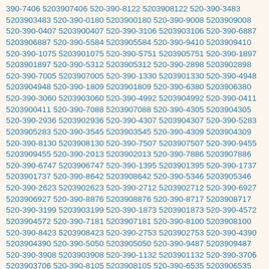390-7406 5203907406 520-390-8122 5203908122 520-390-3483 5203903483 520-390-0180 5203900180 520-390-9008 5203909008 520-390-0407 5203900407 520-390-3106 5203903106 520-390-6887 5203906887 520-390-5584 5203905584 520-390-9410 5203909410 520-390-1075 5203901075 520-390-5751 5203905751 520-390-1897 5203901897 520-390-5312 5203905312 520-390-2898 5203902898 520-390-7005 5203907005 520-390-1330 5203901330 520-390-4948 5203904948 520-390-1809 5203901809 520-390-6380 5203906380 520-390-3060 5203903060 520-390-4992 5203904992 520-390-0411 5203900411 520-390-7088 5203907088 520-390-4305 5203904305 520-390-2936 5203902936 520-390-4307 5203904307 520-390-5283 5203905283 520-390-3545 5203903545 520-390-4309 5203904309 520-390-8130 5203908130 520-390-7507 5203907507 520-390-9455 5203909455 520-390-2013 5203902013 520-390-7886 5203907886 520-390-6747 5203906747 520-390-1395 5203901395 520-390-1737 5203901737 520-390-8642 5203908642 520-390-5346 5203905346 520-390-2623 5203902623 520-390-2712 5203902712 520-390-6927 5203906927 520-390-8876 5203908876 520-390-8717 5203908717 520-390-3199 5203903199 520-390-1873 5203901873 520-390-4572 5203904572 520-390-7181 5203907181 520-390-8100 5203908100 520-390-8423 5203908423 520-390-2753 5203902753 520-390-4390 5203904390 520-390-5050 5203905050 520-390-9487 5203909487 520-390-3908 5203903908 520-390-1132 5203901132 520-390-3706 5203903706 520-390-8105 5203908105 520-390-6535 5203906535 520-390-4182 5203904182 520-390-4614 5203904614 520-390-7974 5203907974 520-390-8891 5203908891 520-390-9896 5203909896 520-390-8645 5203908645 520-390-3273 5203903273 520-390-9142